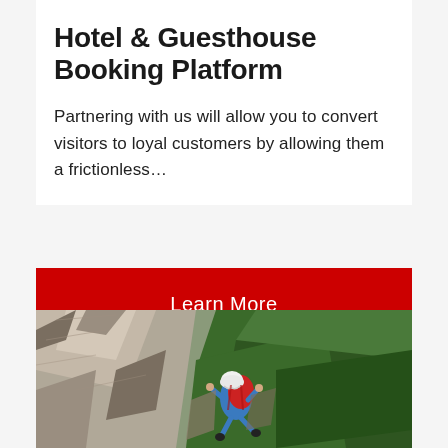Hotel & Guesthouse Booking Platform
Partnering with us will allow you to convert visitors to loyal customers by allowing them a frictionless…
Learn More
[Figure (photo): Aerial view of a rock climber wearing a white helmet and red backpack scaling a rocky cliff face, with green trees visible below.]